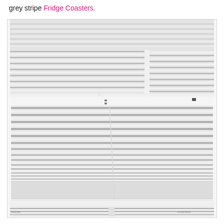grey stripe Fridge Coasters.
[Figure (photo): Close-up photograph of grey stripe fridge coasters/shelf liners placed on refrigerator shelves. The coasters have horizontal grey and white stripes and are shown fitted across multiple fridge shelves and drawers, viewed from a slight angle above.]